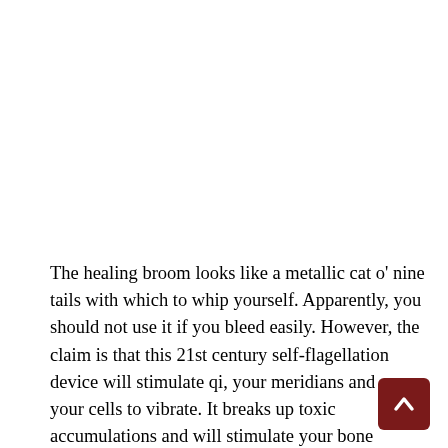The healing broom looks like a metallic cat o' nine tails with which to whip yourself. Apparently, you should not use it if you bleed easily. However, the claim is that this 21st century self-flagellation device will stimulate qi, your meridians and cause your cells to vibrate. It breaks up toxic accumulations and will stimulate your bone marrow, depending on how hard you flail yourself, no doubt. If you survive this self-imposed scourging, the healing whip also comes with a separate sharp metal stick that...